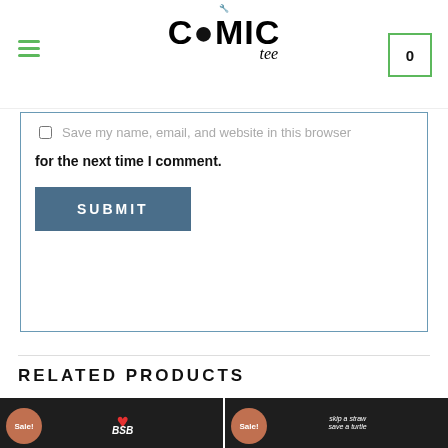Comic Tee — site navigation header with hamburger menu and cart icon showing 0
Save my name, email, and website in this browser for the next time I comment.
SUBMIT
RELATED PRODUCTS
[Figure (photo): Black t-shirt with red heart outline and BSB text, Sale badge, on dark wood background]
[Figure (photo): Black t-shirt with 'skip a straw save a turtle' graphic, Sale badge, on dark wood background]